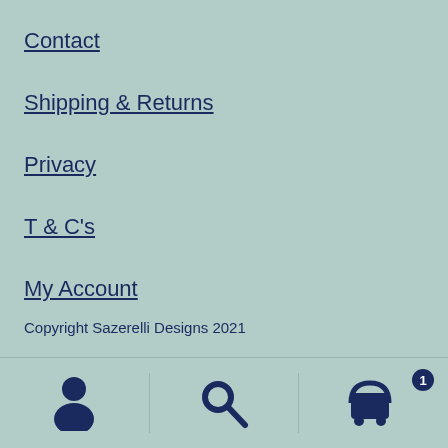Contact
Shipping & Returns
Privacy
T & C's
My Account
Copyright Sazerelli Designs 2021
[Figure (infographic): Bottom navigation bar with three icons: user/account icon on the left, search (magnifying glass) icon in the center, and shopping cart icon with badge showing '1' on the right]